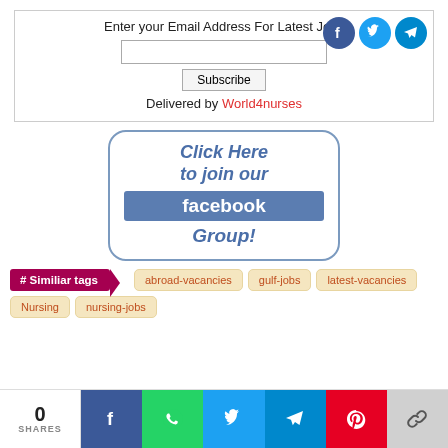Enter your Email Address For Latest Jobs
Subscribe
Delivered by World4nurses
[Figure (infographic): Click Here to join our facebook Group! banner with rounded border]
# Similiar tags  abroad-vacancies  gulf-jobs  latest-vacancies  Nursing  nursing-jobs
0 SHARES